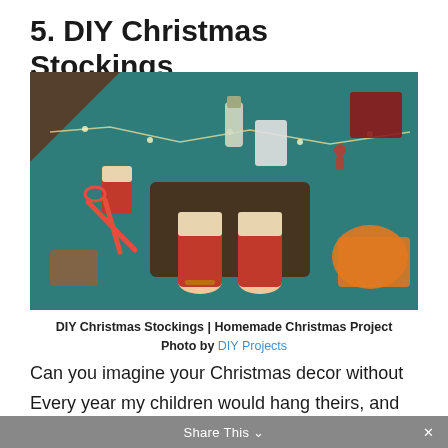5. DIY Christmas Stockings
[Figure (photo): Overhead flat-lay photo of hands holding two small handmade red Christmas stockings with beige cuffs, on a teal fabric background with scissors, ribbon, small toys, and other craft materials scattered around.]
DIY Christmas Stockings | Homemade Christmas Project
Photo by DIY Projects
Can you imagine your Christmas decor without the stockings? I'm sure you can't.
Every year my children would hang theirs, and